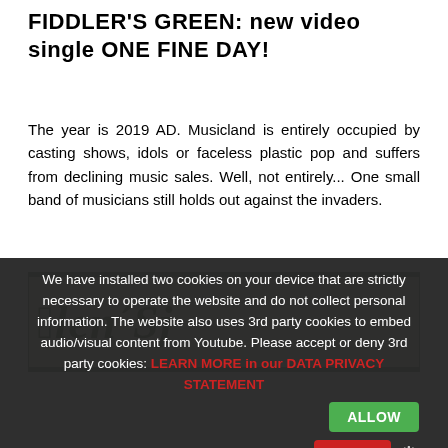FIDDLER'S GREEN: new video single ONE FINE DAY!
The year is 2019 AD. Musicland is entirely occupied by casting shows, idols or faceless plastic pop and suffers from declining music sales. Well, not entirely... One small band of musicians still holds out against the invaders.
[Figure (illustration): A partial image showing decorative old-style/blackletter text on a parchment-colored background with a dark green border frame, partially obscured by a cookie consent overlay.]
We have installed two cookies on your device that are strictly necessary to operate the website and do not collect personal information. The website also uses 3rd party cookies to embed audio/visual content from Youtube. Please accept or deny 3rd party cookies: LEARN MORE in our DATA PRIVACY STATEMENT
ALLOW
DENY